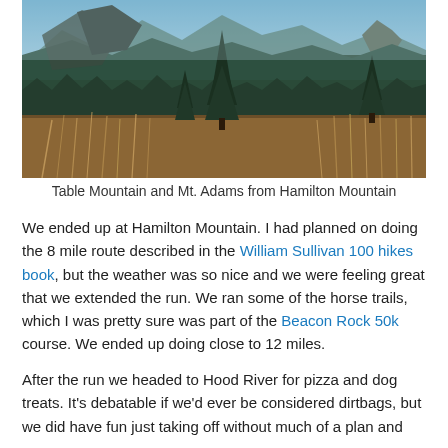[Figure (photo): Panoramic mountain landscape view from Hamilton Mountain showing forested ridgelines, dry brush in foreground, conifer trees, and rolling mountain peaks under blue sky.]
Table Mountain and Mt. Adams from Hamilton Mountain
We ended up at Hamilton Mountain. I had planned on doing the 8 mile route described in the William Sullivan 100 hikes book, but the weather was so nice and we were feeling great that we extended the run. We ran some of the horse trails, which I was pretty sure was part of the Beacon Rock 50k course. We ended up doing close to 12 miles.
After the run we headed to Hood River for pizza and dog treats. It's debatable if we'd ever be considered dirtbags, but we did have fun just taking off without much of a plan and